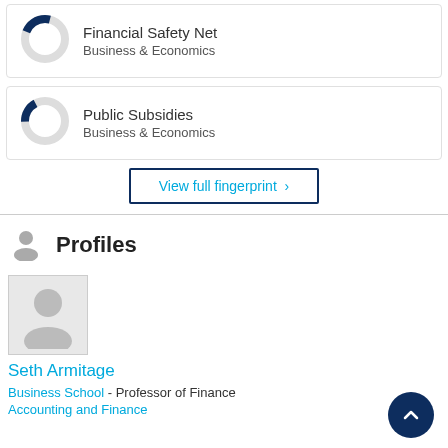[Figure (other): Donut chart card for Financial Safety Net topic, Business & Economics category]
[Figure (other): Donut chart card for Public Subsidies topic, Business & Economics category]
View full fingerprint >
Profiles
[Figure (photo): Placeholder profile photo for Seth Armitage]
Seth Armitage
Business School - Professor of Finance
Accounting and Finance